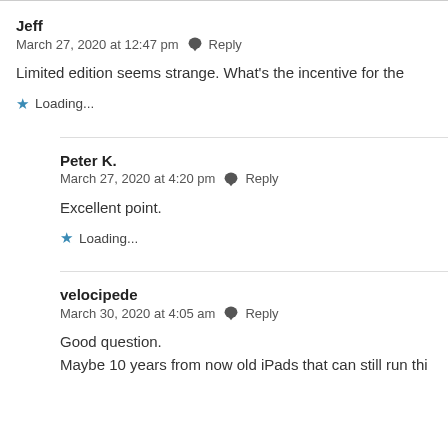Jeff
March 27, 2020 at 12:47 pm  Reply
Limited edition seems strange. What's the incentive for the
★ Loading...
Peter K.
March 27, 2020 at 4:20 pm  Reply
Excellent point.
★ Loading...
velocipede
March 30, 2020 at 4:05 am  Reply
Good question.
Maybe 10 years from now old iPads that can still run thi